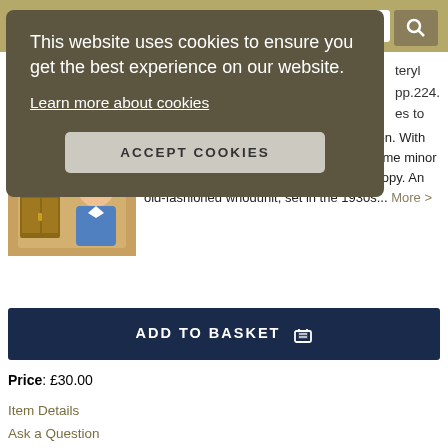[Figure (screenshot): Cookie consent popup overlay on a bookseller website. The popup has a dark olive/brown background and contains cookie notice text, a 'Learn more about cookies' link, and an 'ACCEPT COOKIES' button.]
This website uses cookies to ensure you get the best experience on our website.
Learn more about cookies
ACCEPT COOKIES
spine, coloured endpapers, top edge green. With the dust-jacket illustrated by Ian Beck. Some minor dustiness to fore-edge else a fine, fresh copy. An old-fashioned whodunit, set in the 1930s... More >
ADD TO BASKET
Price: £30.00
Item Details
Ask a Question